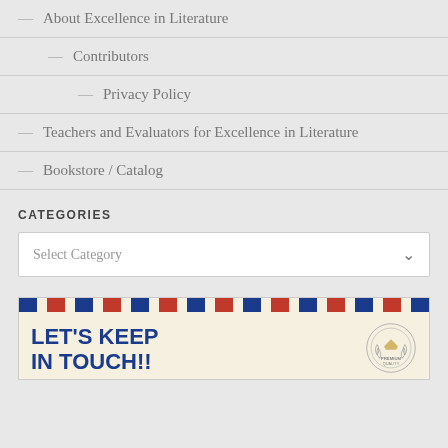— About Excellence in Literature
— Contributors
— Privacy Policy
— Teachers and Evaluators for Excellence in Literature
— Bookstore / Catalog
CATEGORIES
Select Category
[Figure (illustration): Airmail-style envelope graphic with diagonal red and blue stripes border and text 'LET'S KEEP IN TOUCH!!' with a Premium Quality badge/seal in the corner]